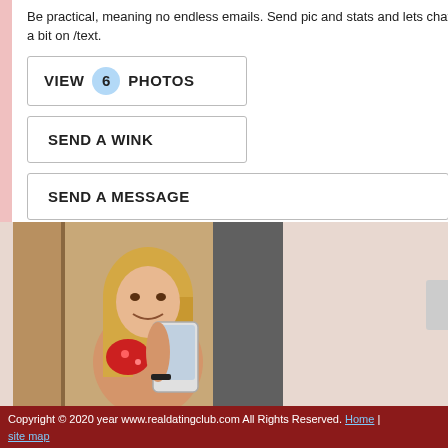Be practical, meaning no endless emails. Send pic and stats and lets chat a bit on /text.
VIEW 6 PHOTOS
SEND A WINK
SEND A MESSAGE
[Figure (photo): Woman taking a mirror selfie wearing a red floral bikini top, with long blonde hair, smiling at her phone camera.]
Copyright © 2020 year www.realdatingclub.com All Rights Reserved. Home | site map